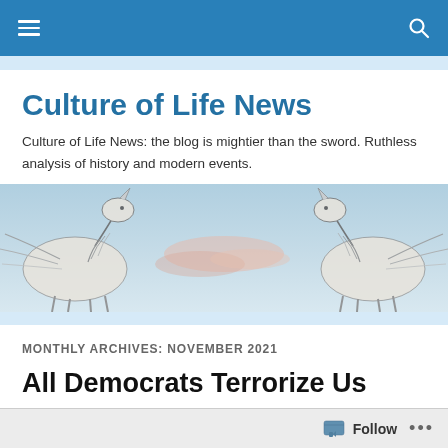Culture of Life News - navigation bar
Culture of Life News
Culture of Life News: the blog is mightier than the sword. Ruthless analysis of history and modern events.
[Figure (illustration): Banner illustration showing two unicorns facing each other with a sky background in between, black and white line art on the sides with a pastel sky center.]
MONTHLY ARCHIVES: NOVEMBER 2021
All Democrats Terrorize Us